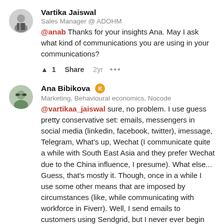Vartika Jaiswal
Sales Manager @ ADOHM
@anab Thanks for your insights Ana. May I ask what kind of communications you are using in your communications?
▲ 1   Share   2yr   ...
Ana Bibikova [K]
Marketing, Behavioural economics, Nocode
@vartikaa_jaiswal sure, no problem. I use guess pretty conservative set: emails, messengers in social media (linkedin, facebook, twitter), imessage, Telegram, What's up, Wechat (I communicate quite a while with South East Asia and they prefer Wechat due to the China influence, I presume). What else... Guess, that's mostly it. Though, once in a while I use some other means that are imposed by circumstances (like, while communicating with workforce in Fiverr). Well, I send emails to customers using Sendgrid, but I never ever begin them with "Hope you're well in these difficult times"